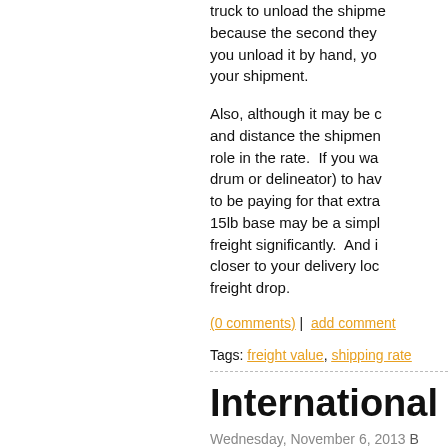truck to unload the shipme... because the second they you unload it by hand, yo... your shipment.
Also, although it may be c... and distance the shipmen... role in the rate. If you wa... drum or delineator) to hav... to be paying for that extra... 15lb base may be a simpl... freight significantly. And i... closer to your delivery loc... freight drop.
(0 comments) | add comment
Tags: freight value, shipping rate
International S...
Wednesday, November 6, 2013 B...
Category: Airport Safety, Traffic...